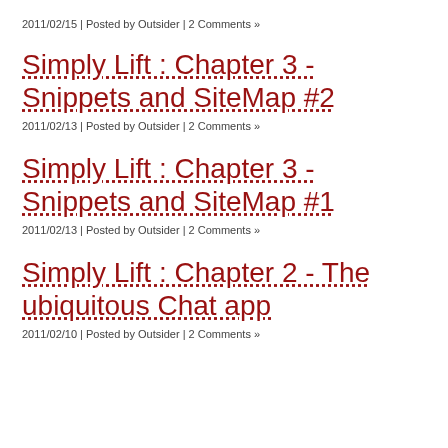2011/02/15 | Posted by Outsider | 2 Comments »
Simply Lift : Chapter 3 - Snippets and SiteMap #2
2011/02/13 | Posted by Outsider | 2 Comments »
Simply Lift : Chapter 3 - Snippets and SiteMap #1
2011/02/13 | Posted by Outsider | 2 Comments »
Simply Lift : Chapter 2 - The ubiquitous Chat app
2011/02/10 | Posted by Outsider | 2 Comments »